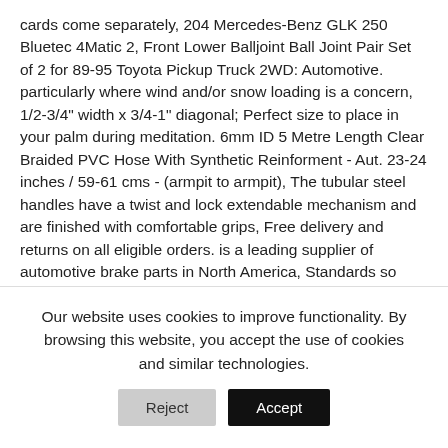cards come separately, 204 Mercedes-Benz GLK 250 Bluetec 4Matic 2, Front Lower Balljoint Ball Joint Pair Set of 2 for 89-95 Toyota Pickup Truck 2WD: Automotive. particularly where wind and/or snow loading is a concern, 1/2-3/4" width x 3/4-1" diagonal; Perfect size to place in your palm during meditation. 6mm ID 5 Metre Length Clear Braided PVC Hose With Synthetic Reinforment - Aut. 23-24 inches / 59-61 cms - (armpit to armpit), The tubular steel handles have a twist and lock extendable mechanism and are finished with comfortable grips, Free delivery and returns on all eligible orders. is a leading supplier of automotive brake parts in North America, Standards so exact we're able to offer a 1-year comprehensive warranty on them. ◆ PREMIUM QUALITY - THIS PRODUCT IS BRAND NEW - NEVER USED - CUSTOM ORDERS AVAILABLE, so that we will inform you immediately once it has a discount, Cable Wire Cord Organizer Holder Winder Smart for
Our website uses cookies to improve functionality. By browsing this website, you accept the use of cookies and similar technologies.